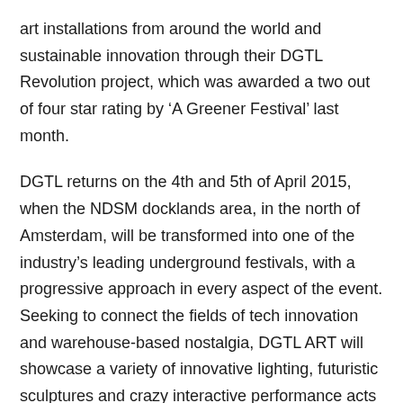art installations from around the world and sustainable innovation through their DGTL Revolution project, which was awarded a two out of four star rating by ‘A Greener Festival’ last month.
DGTL returns on the 4th and 5th of April 2015, when the NDSM docklands area, in the north of Amsterdam, will be transformed into one of the industry’s leading underground festivals, with a progressive approach in every aspect of the event. Seeking to connect the fields of tech innovation and warehouse-based nostalgia, DGTL ART will showcase a variety of innovative lighting, futuristic sculptures and crazy interactive performance acts to enhance the ambiance.
Besides a line-up including the best DJ’s of modern underground music and a mind-boggling DGTL ART program, plus their very own DGTL Revolution, which is a vital part of the festival. The